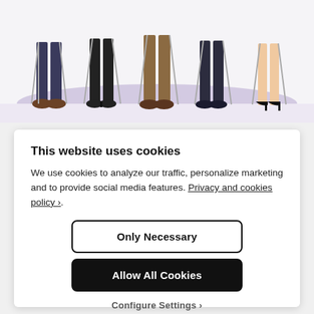[Figure (illustration): Illustration of people's legs and feet sitting on stools with a purple oval shadow on the ground. Multiple people in various shoes visible from the waist down.]
How To Manage A Multivariational…
This website uses cookies
We use cookies to analyze our traffic, personalize marketing and to provide social media features. Privacy and cookies policy ›.
Only Necessary
Allow All Cookies
Configure Settings ›